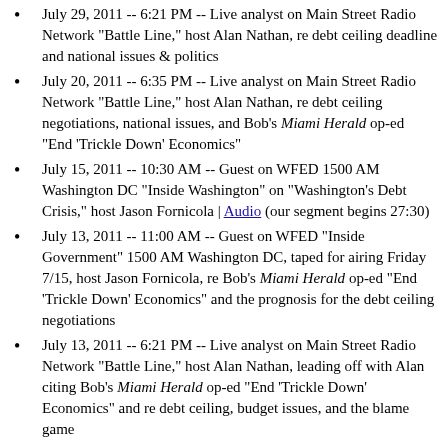July 29, 2011 -- 6:21 PM -- Live analyst on Main Street Radio Network "Battle Line," host Alan Nathan, re debt ceiling deadline and national issues & politics
July 20, 2011 -- 6:35 PM -- Live analyst on Main Street Radio Network "Battle Line," host Alan Nathan, re debt ceiling negotiations, national issues, and Bob's Miami Herald op-ed "End 'Trickle Down' Economics"
July 15, 2011 -- 10:30 AM -- Guest on WFED 1500 AM Washington DC "Inside Washington" on "Washington's Debt Crisis," host Jason Fornicola | Audio (our segment begins 27:30)
July 13, 2011 -- 11:00 AM -- Guest on WFED "Inside Government" 1500 AM Washington DC, taped for airing Friday 7/15, host Jason Fornicola, re Bob's Miami Herald op-ed "End 'Trickle Down' Economics" and the prognosis for the debt ceiling negotiations
July 13, 2011 -- 6:21 PM -- Live analyst on Main Street Radio Network "Battle Line," host Alan Nathan, leading off with Alan citing Bob's Miami Herald op-ed "End 'Trickle Down' Economics" and re debt ceiling, budget issues, and the blame game
July 11, 2011 -- 8:05 PM -- Live guest on 880 AM "The Biz," Miami FL, host Richard Burton, per producer Herb Levin, re the economy, the debt ceiling, and Bob's Miami Herald op-ed "End 'Trickle Down' Economics"
July 11, 2011 -- 5:10 PM -- Live guest on 880 AM "The Biz," South Florida (Miami/Dade/Broward) re debt ceiling, Social